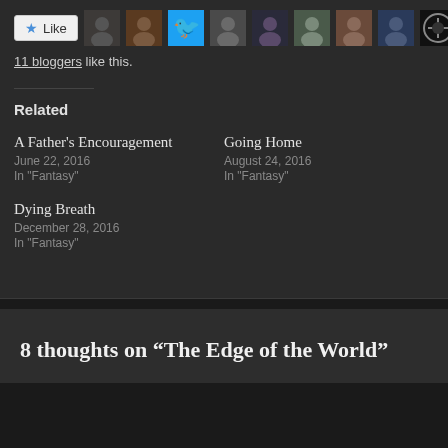[Figure (other): Like button with star icon and row of 10 blogger avatar thumbnails]
11 bloggers like this.
Related
A Father's Encouragement
June 22, 2016
In "Fantasy"
Going Home
August 24, 2016
In "Fantasy"
Dying Breath
December 28, 2016
In "Fantasy"
8 thoughts on “The Edge of the World”